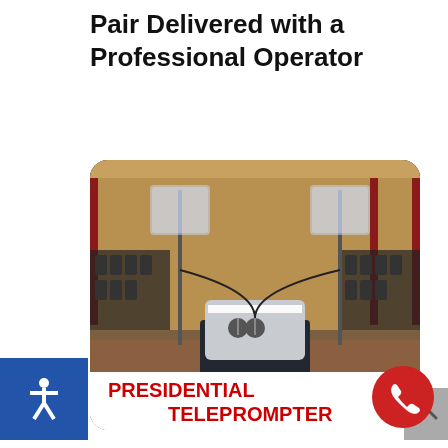Pair Delivered with a Professional Operator
[Figure (photo): Presidential teleprompter setup on a stage with two glass panels on stands flanking a podium with microphones, in a large conference/ballroom setting with empty chairs in background]
PRESIDENTIAL TELEPROMPTER